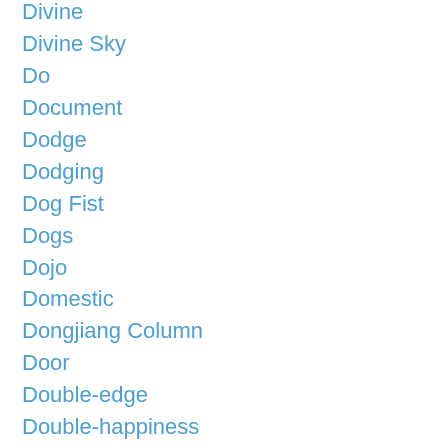Divine
Divine Sky
Do
Document
Dodge
Dodging
Dog Fist
Dogs
Dojo
Domestic
Dongjiang Column
Door
Double-edge
Double-happiness
Double Hip Twist
Dove
Dragon Fist
Drawing Bow
Drawing The Bow
Drop
Dropped